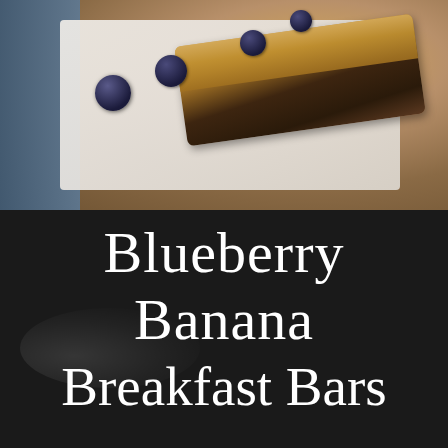[Figure (photo): Close-up photo of blueberry banana breakfast bars on a white paper towel with fresh blueberries scattered around, placed on a blue denim fabric background. The bar shows layers of golden oat crust with dark blueberry filling.]
Blueberry Banana Breakfast Bars